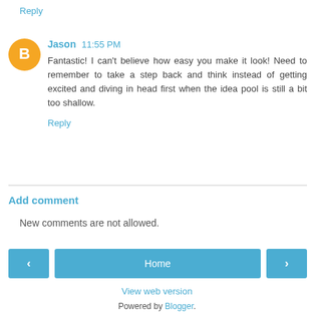Reply
Jason  11:55 PM
Fantastic! I can't believe how easy you make it look! Need to remember to take a step back and think instead of getting excited and diving in head first when the idea pool is still a bit too shallow.
Reply
Add comment
New comments are not allowed.
‹
Home
›
View web version
Powered by Blogger.